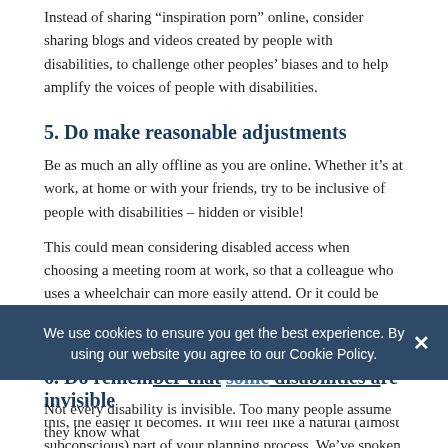Instead of sharing “inspiration porn” online, consider sharing blogs and videos created by people with disabilities, to challenge other peoples’ biases and to help amplify the voices of people with disabilities.
5. Do make reasonable adjustments
Be as much an ally offline as you are online. Whether it’s at work, at home or with your friends, try to be inclusive of people with disabilities – hidden or visible!
This could mean considering disabled access when choosing a meeting room at work, so that a colleague who uses a wheelchair can more easily attend. Or it could be that you’re planning an evening out with your friends, and you plan to avoid loud, overwhelming spaces for your neurodivergent friends.
It might feel like a lot to consider now, but the more you do this, the easier it becomes. It will feel like a natural (almost subconscious) part of your planning process. We’ve spoken about how to combat ableism in the workplace in a separate blog – find out more
We use cookies to ensure you get the best experience. By using our website you agree to our Cookie Policy.
6. Do remember that some disabilities are invisible
Not every disability is invisible. Too many people assume they know what